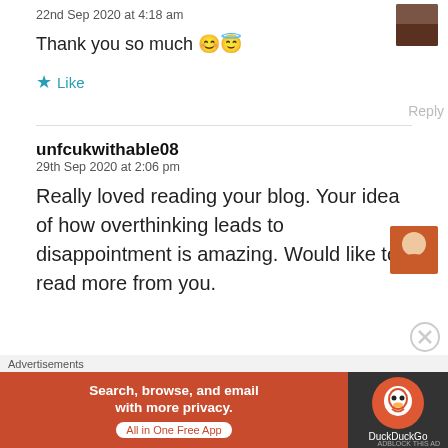22nd Sep 2020 at 4:18 am
Thank you so much 😊😇
★ Like
Reply
unfcukwithable08
29th Sep 2020 at 2:06 pm
Really loved reading your blog. Your idea of how overthinking leads to disappointment is amazing. Would like to read more from you.
Advertisements
[Figure (screenshot): DuckDuckGo advertisement banner: orange section with text 'Search, browse, and email with more privacy. All in One Free App' and dark section with DuckDuckGo logo]